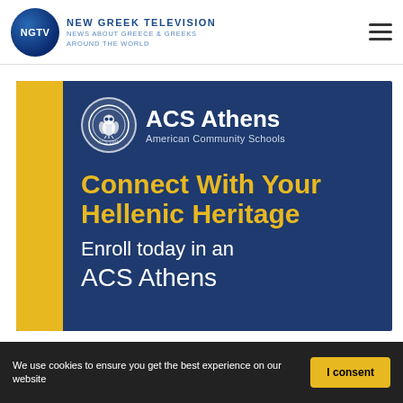NGTV | NEW GREEK TELEVISION — News about Greece & Greeks around the world
[Figure (illustration): ACS Athens American Community Schools advertisement banner on a dark blue background with yellow stripe. Shows ACS Athens logo (owl medallion), heading 'Connect With Your Hellenic Heritage', and subtext 'Enroll today in an ACS Athens']
We use cookies to ensure you get the best experience on our website
I consent